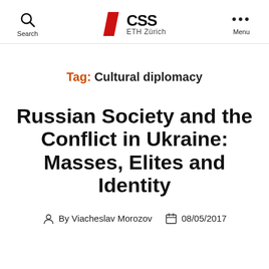[Figure (logo): CSS ETH Zürich logo with red diagonal slash]
Search  CSS ETH Zürich  Menu
Tag: Cultural diplomacy
Russian Society and the Conflict in Ukraine: Masses, Elites and Identity
By Viacheslav Morozov   08/05/2017